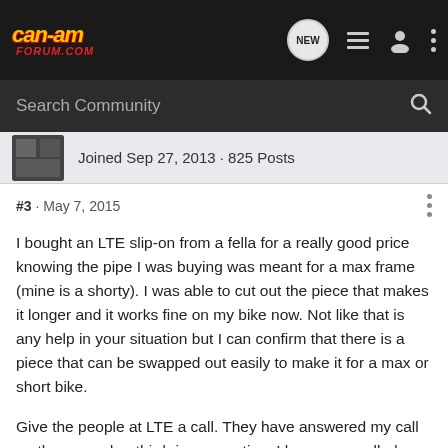[Figure (logo): Can-Am Forum logo in yellow and red italic text on dark background]
Search Community
Joined Sep 27, 2013 · 825 Posts
#3 · May 7, 2015
I bought an LTE slip-on from a fella for a really good price knowing the pipe I was buying was meant for a max frame (mine is a shorty). I was able to cut out the piece that makes it longer and it works fine on my bike now. Not like that is any help in your situation but I can confirm that there is a piece that can be swapped out easily to make it for a max or short bike.

Give the people at LTE a call. They have answered my call on the second or third ring every time I have ever called. Very helpful and knowledgable people.